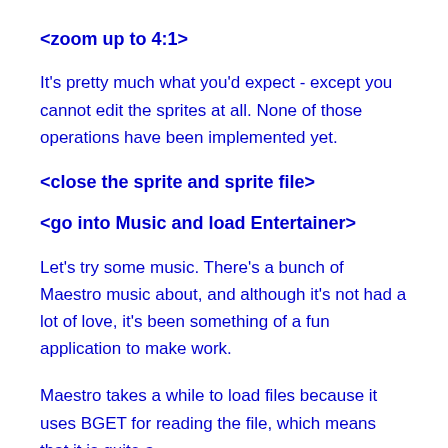<zoom up to 4:1>
It's pretty much what you'd expect - except you cannot edit the sprites at all. None of those operations have been implemented yet.
<close the sprite and sprite file>
<go into Music and load Entertainer>
Let's try some music. There's a bunch of Maestro music about, and although it's not had a lot of love, it's been something of a fun application to make work.
Maestro takes a while to load files because it uses BGET for reading the file, which means that it is quite a